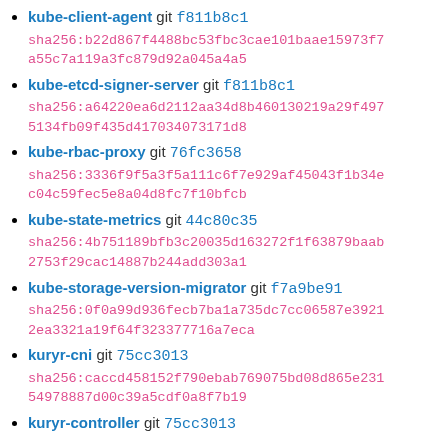kube-client-agent git f811b8c1
sha256:b22d867f4488bc53fbc3cae101baae15973f7a55c7a119a3fc879d92a045a4a5
kube-etcd-signer-server git f811b8c1
sha256:a64220ea6d2112aa34d8b460130219a29f4975134fb09f435d417034073171d8
kube-rbac-proxy git 76fc3658
sha256:3336f9f5a3f5a111c6f7e929af45043f1b34ec04c59fec5e8a04d8fc7f10bfcb
kube-state-metrics git 44c80c35
sha256:4b751189bfb3c20035d163272f1f63879baab2753f29cac14887b244add303a1
kube-storage-version-migrator git f7a9be91
sha256:0f0a99d936fecb7ba1a735dc7cc06587e39212ea3321a19f64f323377716a7eca
kuryr-cni git 75cc3013
sha256:caccd458152f790ebab769075bd08d865e23154978887d00c39a5cdf0a8f7b19
kuryr-controller git 75cc3013